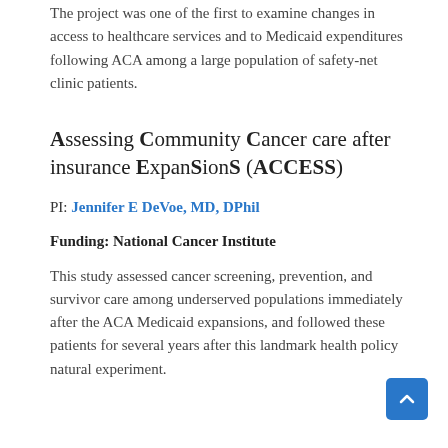The project was one of the first to examine changes in access to healthcare services and to Medicaid expenditures following ACA among a large population of safety-net clinic patients.
Assessing Community Cancer care after insurance ExpanSionS (ACCESS)
PI: Jennifer E DeVoe, MD, DPhil
Funding: National Cancer Institute
This study assessed cancer screening, prevention, and survivor care among underserved populations immediately after the ACA Medicaid expansions, and followed these patients for several years after this landmark health policy natural experiment.